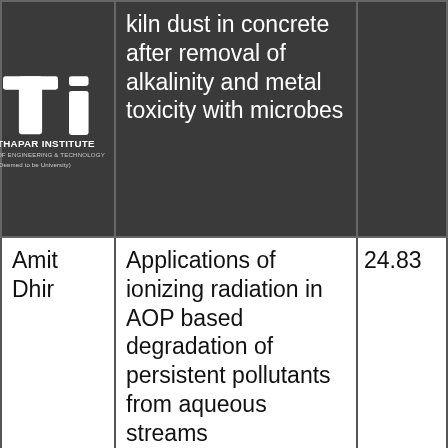| Name | Project/Topic | Amount (Lakhs) | Funding Agency |
| --- | --- | --- | --- |
| [Logo] | Kiln dust in concrete after removal of alkalinity and metal toxicity with microbes |  |  |
| Amit Dhir | Applications of ionizing radiation in AOP based degradation of persistent pollutants from aqueous streams | 24.83 | DAE |
| N.Tejo Prakash | Neuroprotective properties of selenoergothioneine sourced from selenium-rich mushrooms against oxidative stress and nitrosative damage in | 23.7 | DBT |